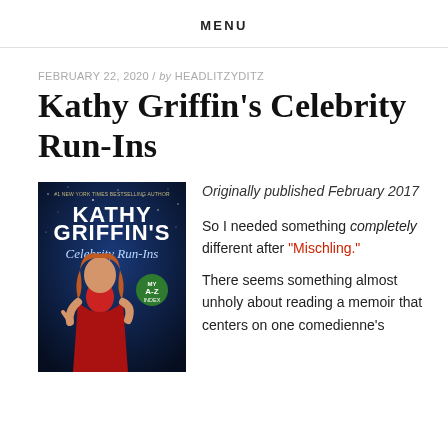MENU
FEBRUARY 22, 2020 / by HEADLITZYDITZ
Kathy Griffin's Celebrity Run-Ins
[Figure (illustration): Book cover of Kathy Griffin's Celebrity Run-Ins showing the author in a red dress against a dark blue starry background with an A-Z badge]
Originally published February 2017
So I needed something completely different after “Mischling.”
There seems something almost unholy about reading a memoir that centers on one comedienne’s